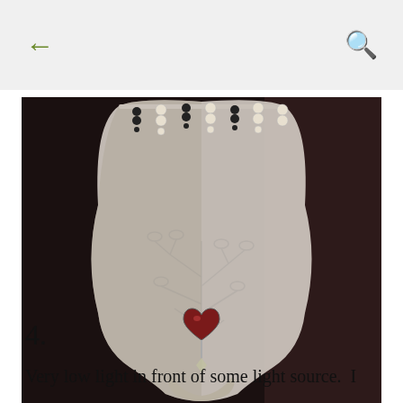← (back) | 🔍 (search)
[Figure (photo): A decorative glass or acrylic lamp shade with a bulbous vase shape. The shade has an embossed tree/floral pattern. At the top, beaded decorations hang — alternating dark/black beads and white pearl beads. At the bottom center of the shade, there is a heart-shaped red/dark ornament with a crystal drop hanging below it. The background is dark/dim.]
G4
4.
Very low light in front of some light source.  I